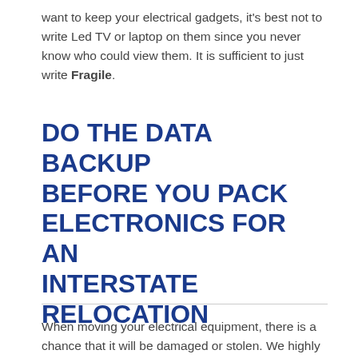want to keep your electrical gadgets, it's best not to write Led TV or laptop on them since you never know who could view them. It is sufficient to just write Fragile.
DO THE DATA BACKUP BEFORE YOU PACK ELECTRONICS FOR AN INTERSTATE RELOCATION
When moving your electrical equipment, there is a chance that it will be damaged or stolen. We highly advise you to back up all of your data from your computer, tablet, and even phone to an external hard